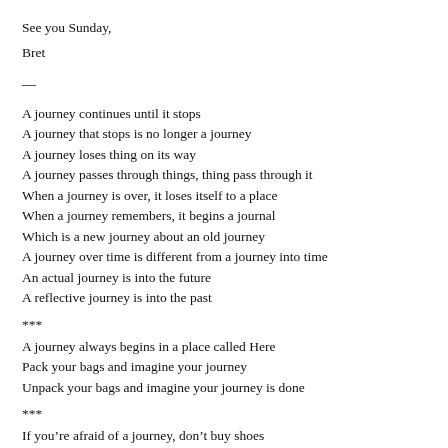See you Sunday,
Bret
—
A journey continues until it stops
A journey that stops is no longer a journey
A journey loses thing on its way
A journey passes through things, thing pass through it
When a journey is over, it loses itself to a place
When a journey remembers, it begins a journal
Which is a new journey about an old journey
A journey over time is different from a journey into time
An actual journey is into the future
A reflective journey is into the past
***
A journey always begins in a place called Here
Pack your bags and imagine your journey
Unpack your bags and imagine your journey is done
***
If you’re afraid of a journey, don’t buy shoes